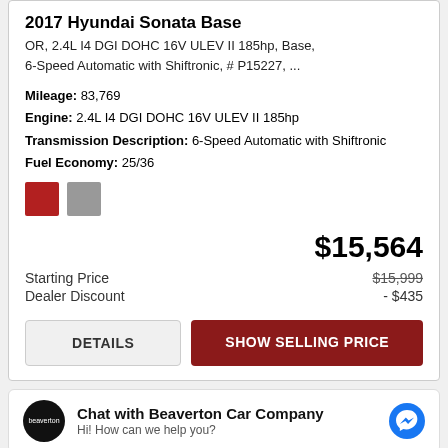2017 Hyundai Sonata Base
OR, 2.4L I4 DGI DOHC 16V ULEV II 185hp, Base, 6-Speed Automatic with Shiftronic, # P15227, ...
Mileage: 83,769
Engine: 2.4L I4 DGI DOHC 16V ULEV II 185hp
Transmission Description: 6-Speed Automatic with Shiftronic
Fuel Economy: 25/36
[Figure (illustration): Two color swatches: red square and gray square]
$15,564
Starting Price  $15,999
Dealer Discount  - $435
DETAILS  |  SHOW SELLING PRICE
Chat with Beaverton Car Company
Hi! How can we help you?
[Figure (photo): Partial view of a red car at the bottom]